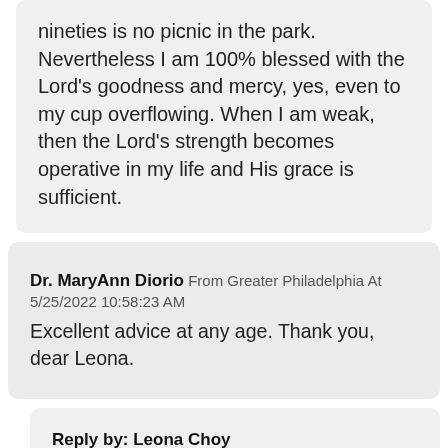nineties is no picnic in the park. Nevertheless I am 100% blessed with the Lord's goodness and mercy, yes, even to my cup overflowing. When I am weak, then the Lord's strength becomes operative in my life and His grace is sufficient.
Dr. MaryAnn Diorio From Greater Philadelphia At 5/25/2022 10:58:23 AM
Excellent advice at any age. Thank you, dear Leona.
Reply by: Leona Choy